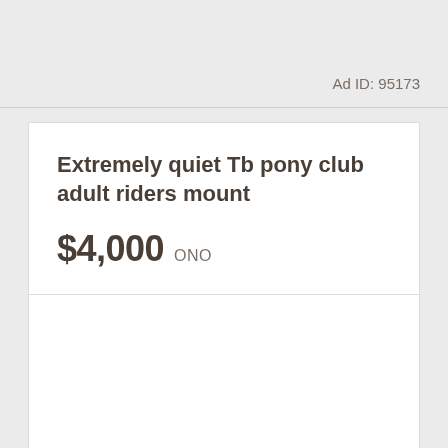Ad ID: 95173
Extremely quiet Tb pony club adult riders mount
$4,000 ONO